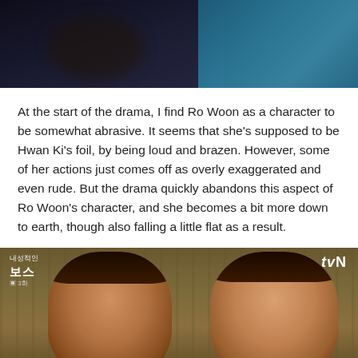[Figure (screenshot): Dark screenshot from a Korean TV drama, showing a dark scene top portion]
At the start of the drama, I find Ro Woon as a character to be somewhat abrasive. It seems that she's supposed to be Hwan Ki's foil, by being loud and brazen. However, some of her actions just comes off as overly exaggerated and even rude. But the drama quickly abandons this aspect of Ro Woon's character, and she becomes a bit more down to earth, though also falling a little flat as a result.
[Figure (screenshot): Screenshot from Korean drama tvN show featuring two women in conversation, with Korean text overlay and tvN logo]
4.7K Shares